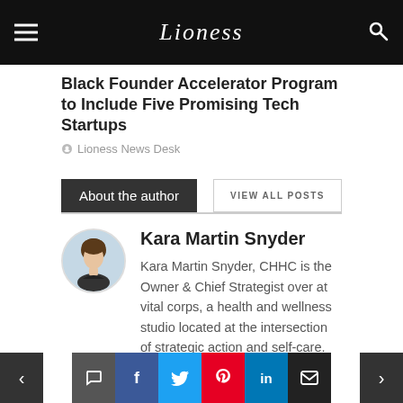Lioness
Black Founder Accelerator Program to Include Five Promising Tech Startups
Lioness News Desk
About the author
VIEW ALL POSTS
Kara Martin Snyder
Kara Martin Snyder, CHHC is the Owner & Chief Strategist over at vital corps, a health and wellness studio located at the intersection of strategic action and self-care. Kara's not your run of the mill,